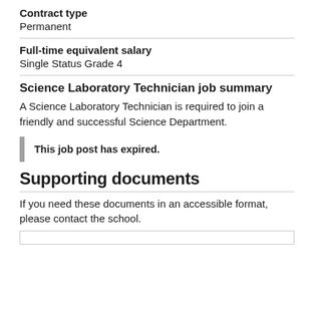Contract type
Permanent
Full-time equivalent salary
Single Status Grade 4
Science Laboratory Technician job summary
A Science Laboratory Technician is required to join a friendly and successful Science Department.
This job post has expired.
Supporting documents
If you need these documents in an accessible format, please contact the school.